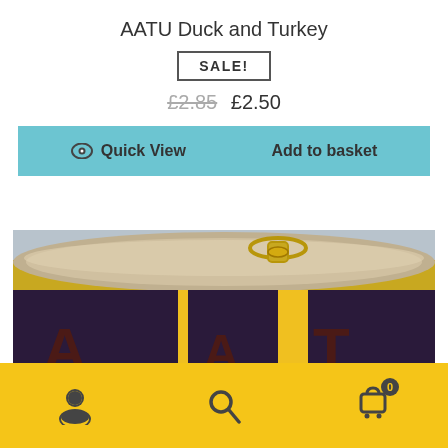AATU Duck and Turkey
SALE!
£2.85  £2.50
Quick View   Add to basket
[Figure (photo): Close-up photo of a tin can with gold pull-ring lid, yellow label with dark navy/purple squares showing the AATU brand logo letters.]
User icon, Search icon, Basket icon with badge showing 0